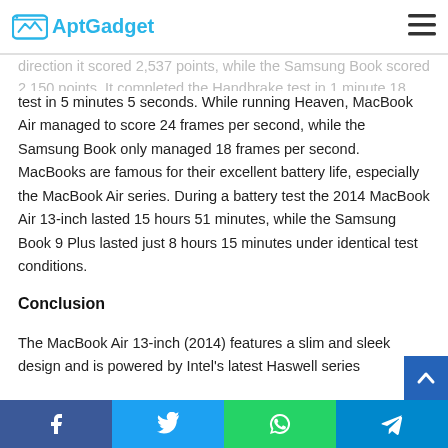AptGadget
direction it scored 2,537 points, while the Samsung Book scored 2,150 points. It completed the Handbrake test in 1 minute 18 seconds and Photoshop CS6 test in 5 minutes 5 seconds. While running Heaven, MacBook Air managed to score 24 frames per second, while the Samsung Book only managed 18 frames per second. MacBooks are famous for their excellent battery life, especially the MacBook Air series. During a battery test the 2014 MacBook Air 13-inch lasted 15 hours 51 minutes, while the Samsung Book 9 Plus lasted just 8 hours 15 minutes under identical test conditions.
Conclusion
The MacBook Air 13-inch (2014) features a slim and sleek design and is powered by Intel's latest Haswell series
Facebook | Twitter | WhatsApp | Telegram